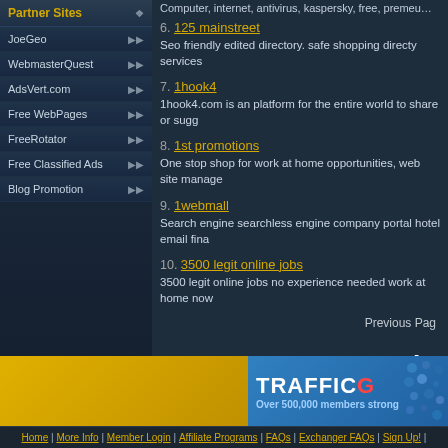Partner Sites
JoeGeo
WebmasterQuest
AdsVert.com
Free WebPages
FreeRotator
Free Classified Ads
Blog Promotion
Computer, internet, antivirus, kaspersky, free, premeume, netwo...
6. 125 mainstreet
Seo friendly edited directory. safe shopping directy services
7. 1hook4
1hook4.com is an platform for the entire world to share or sugg...
8. 1st promotions
One stop shop for work at home opportunities, web site manage...
9. 1webmall
Search engine searchless engine company portal hotel email fina...
10. 3500 legit online jobs
3500 legit online jobs no experience needed work at home now
Previous Pag...
Join
[Figure (infographic): TrafficG banner: blue background with TRAFFICG logo and text 'Over 500,000 members strong']
Home | More Info | Member Login | Affiliate Programs | FAQs | Exchanger FAQs | Sign Up! |